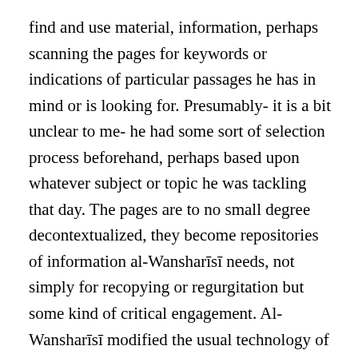find and use material, information, perhaps scanning the pages for keywords or indications of particular passages he has in mind or is looking for. Presumably- it is a bit unclear to me- he had some sort of selection process beforehand, perhaps based upon whatever subject or topic he was tackling that day. The pages are to no small degree decontextualized, they become repositories of information al-Wansharīsī needs, not simply for recopying or regurgitation but some kind of critical engagement. Al-Wansharīsī modified the usual technology of texts in his world by unbinding (or never binding at all, as the case may be) the books in his library, which allowed him to do a kind of early text search, walking up and down among the pages